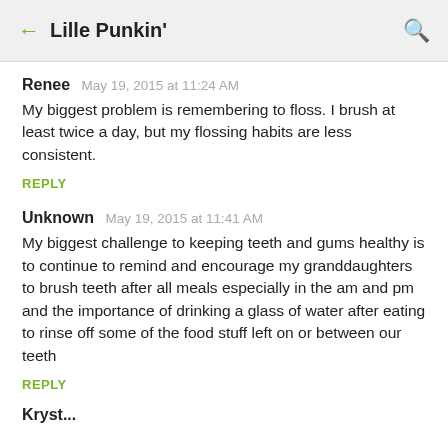← Lille Punkin'
Renee  May 19, 2015 at 11:24 AM
My biggest problem is remembering to floss. I brush at least twice a day, but my flossing habits are less consistent.
REPLY
Unknown  May 19, 2015 at 11:41 AM
My biggest challenge to keeping teeth and gums healthy is to continue to remind and encourage my granddaughters to brush teeth after all meals especially in the am and pm and the importance of drinking a glass of water after eating to rinse off some of the food stuff left on or between our teeth
REPLY
Kryst...